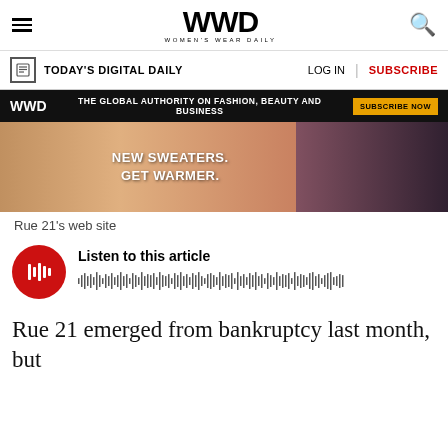WWD — Women's Wear Daily
TODAY'S DIGITAL DAILY   LOG IN   SUBSCRIBE
[Figure (infographic): WWD ad banner: THE GLOBAL AUTHORITY ON FASHION, BEAUTY AND BUSINESS — SUBSCRIBE NOW]
[Figure (photo): Rue 21 website screenshot showing sweater advertisement with text: NEW SWEATERS. GET WARMER.]
Rue 21's web site
[Figure (infographic): Audio player with red circular play button, Listen to this article label, and waveform visualization]
Rue 21 emerged from bankruptcy last month, but